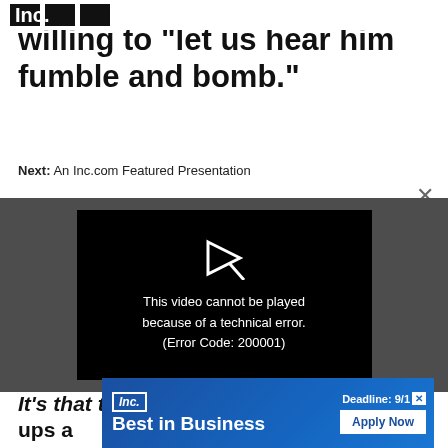Inc. [logo]
willing to "let us hear him fumble and bomb."
Next: An Inc.com Featured Presentation
[Figure (screenshot): Video player showing error message: This video cannot be played because of a technical error. (Error Code: 200001)]
It's that time Ginsberg documented the ups a
[Figure (screenshot): Inc. Best in Business advertisement banner with 'Apply Now' button and 'Deadline: 9/1' text]